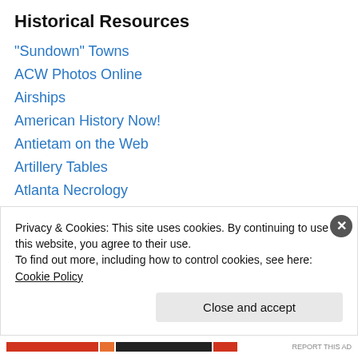Historical Resources
"Sundown" Towns
ACW Photos Online
Airships
American History Now!
Antietam on the Web
Artillery Tables
Atlanta Necrology
B. H. Grierson Society
Big Maps Blog
Blue & Gray Marching
Books Online — Penn
British Soldiers, American Revolution
Privacy & Cookies: This site uses cookies. By continuing to use this website, you agree to their use.
To find out more, including how to control cookies, see here: Cookie Policy
Close and accept